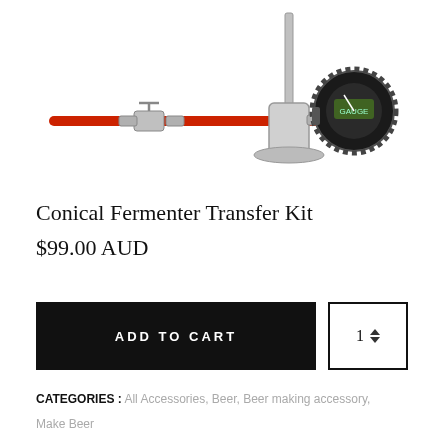[Figure (photo): Product photo of Conical Fermenter Transfer Kit showing a red hose with ball valves and fittings connected to a pressure gauge assembly with a round black dial]
Conical Fermenter Transfer Kit
$99.00 AUD
ADD TO CART
CATEGORIES :  All Accessories, Beer, Beer making accessory, Make Beer